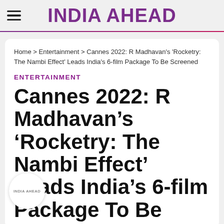INDIA AHEAD
Home > Entertainment > Cannes 2022: R Madhavan's 'Rocketry: The Nambi Effect' Leads India's 6-film Package To Be Screened
ENTERTAINMENT
Cannes 2022: R Madhavan's 'Rocketry: The Nambi Effect' Leads India's 6-film Package To Be